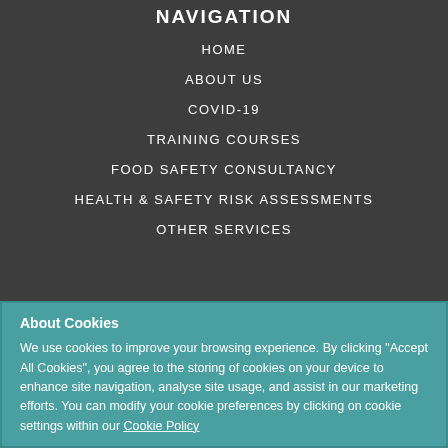NAVIGATION
HOME
ABOUT US
COVID-19
TRAINING COURSES
FOOD SAFETY CONSULTANCY
HEALTH & SAFETY RISK ASSESSMENTS
OTHER SERVICES
About Cookies
We use cookies to improve your browsing experience. By clicking "Accept All Cookies", you agree to the storing of cookies on your device to enhance site navigation, analyse site usage, and assist in our marketing efforts. You can modify your cookie preferences by clicking on cookie settings within our Cookie Policy